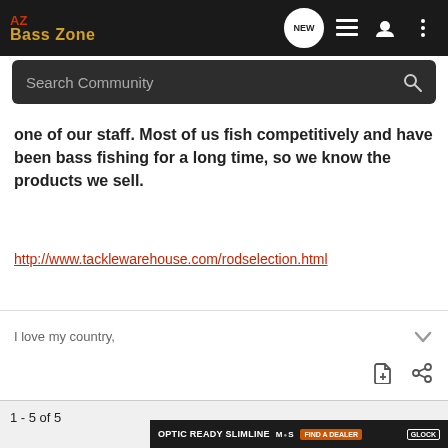AZ BassZone
one of our staff. Most of us fish competitively and have been bass fishing for a long time, so we know the products we sell.
http://www.tacklewarehouse.com/rodselection.html
I love my country,
1 - 5 of 5
[Figure (screenshot): OPTIC READY SLIMLINE advertisement banner with MOS logo, FIND A DEALER button, and GLOCK PERFECTION branding]